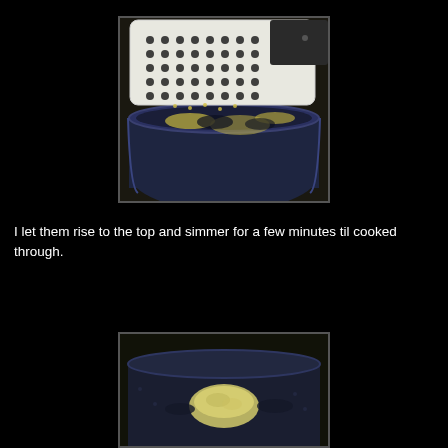[Figure (photo): A white perforated colander/strainer held over a dark blue speckled pot containing small yellow pasta or grains being dropped into water]
I let them rise to the top and simmer for a few minutes til cooked through.
[Figure (photo): A dark blue speckled pot with cooked dumplings or gnocchi floating in water, viewed from above]